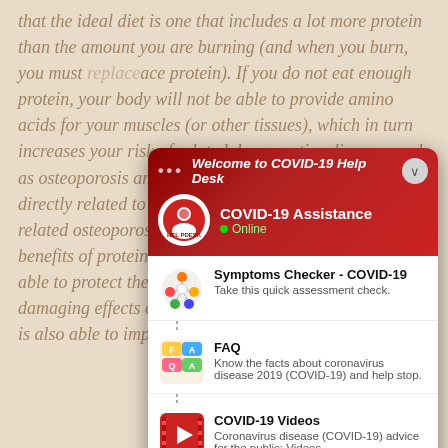that the ideal diet is one that includes a lot more protein than the amount you are burning (and when you burn, you must replace... with protein). If you do not eat enough protein, your body will not be able to provide amino acids for your muscles (or other tissues), which in turn increases your risk of related degenerative diseases such as osteoporosis and osteoarthritis, both of which are directly related to lower quality of life in... 50 related osteoporosis. There are also a number of health benefits of protein, according to several studies. It is able to protect the brain and your joints from the damaging effects of oxidation, ostarine stack dosage. It is also able to improve glucose metabolism.
[Figure (screenshot): COVID-19 Help Desk chat widget overlay showing: header with 'Welcome to COVID-19 Help Desk', profile section with COVID-19 Assistance bot (Online), and menu items: Symptoms Checker - COVID-19 (Take this quick assessment check.), FAQ (Know the facts about coronavirus disease 2019 (COVID-19) and help stop.), COVID-19 Videos (Coronavirus disease (COVID-19) advice for the public: Videos), Helpline Numbers (Reach us 24/7.). Footer shows 'Connecting...' with a send button.]